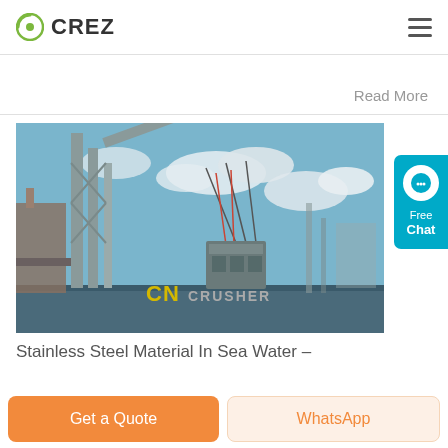CREZ
Read More
[Figure (photo): Industrial crane at a port lifting heavy equipment, with blue sky and clouds in background. CN CRUSHER watermark visible at bottom center.]
Stainless Steel Material In Sea Water –
Get a Quote
WhatsApp